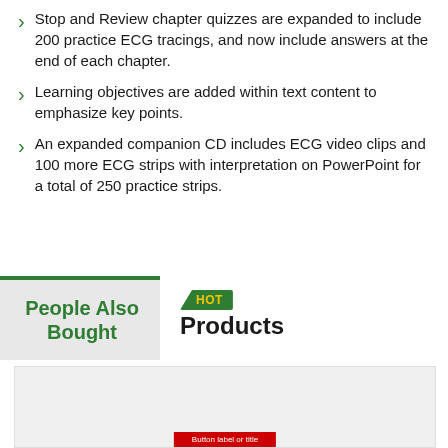Stop and Review chapter quizzes are expanded to include 200 practice ECG tracings, and now include answers at the end of each chapter.
Learning objectives are added within text content to emphasize key points.
An expanded companion CD includes ECG video clips and 100 more ECG strips with interpretation on PowerPoint for a total of 250 practice strips.
People Also Bought
HOT Products
[Figure (other): Product card area with a red banner at the bottom, partially visible]